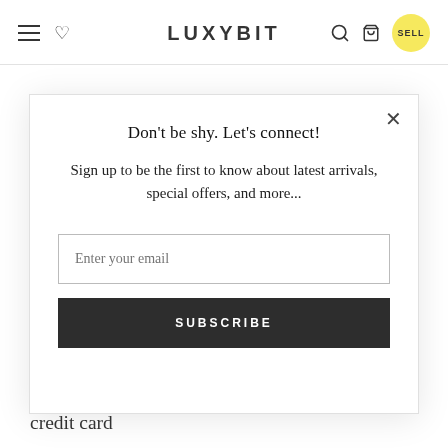LUXYBIT
We reserve the right to refuse any order you place with us. We may, in our sole discretion, limit or cancel quantities purchased per person, per household or per order. These restrictions may
Don't be shy. Let's connect!
Sign up to be the first to know about latest arrivals, special offers, and more...
Enter your email
SUBSCRIBE
information, including your email address and credit card